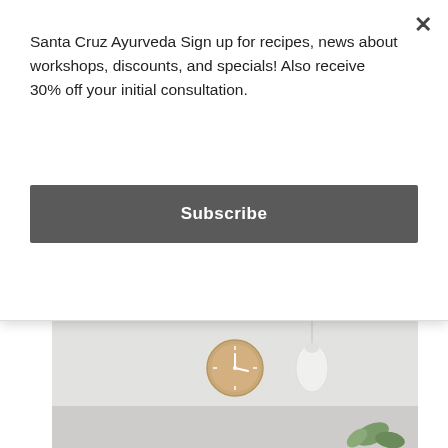Santa Cruz Ayurveda Sign up for recipes, news about workshops, discounts, and specials! Also receive 30% off your initial consultation.
Subscribe
and family and enjoying life again, just in time for the longer days and warmer weather! With this transition, there are...
[Figure (photo): A minimalist room scene with a round wooden wall clock and a white pendant light, with green plant leaves visible at the bottom right.]